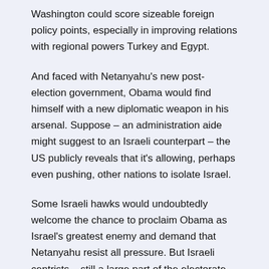Washington could score sizeable foreign policy points, especially in improving relations with regional powers Turkey and Egypt.
And faced with Netanyahu's new post-election government, Obama would find himself with a new diplomatic weapon in his arsenal. Suppose – an administration aide might suggest to an Israeli counterpart – the US publicly reveals that it's allowing, perhaps even pushing, other nations to isolate Israel.
Some Israeli hawks would undoubtedly welcome the chance to proclaim Obama as Israel's greatest enemy and demand that Netanyahu resist all pressure. But Israeli centrists – still a large part of the electorate – would be dismayed, or worse, at the thought of losing Washington as their last bulwark against international rejection. The fear that Israel could become a pariah state, blacklisted, embargoed, and without its lone invaluable ally would be a powerful incentive. They'd insist that Netanyahu show flexibility to avoid that fate.
Netanyahu would find himself caught in a political battle he could